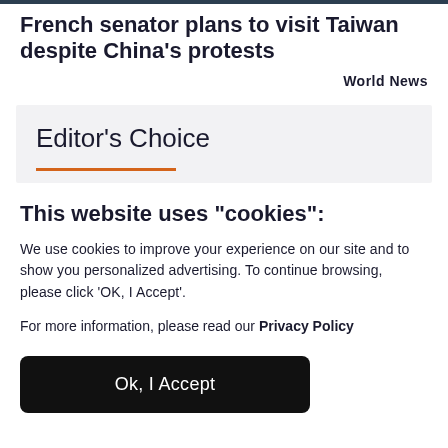French senator plans to visit Taiwan despite China's protests
World News
Editor's Choice
This website uses "cookies":
We use cookies to improve your experience on our site and to show you personalized advertising. To continue browsing, please click 'OK, I Accept'.
For more information, please read our Privacy Policy
Ok, I Accept